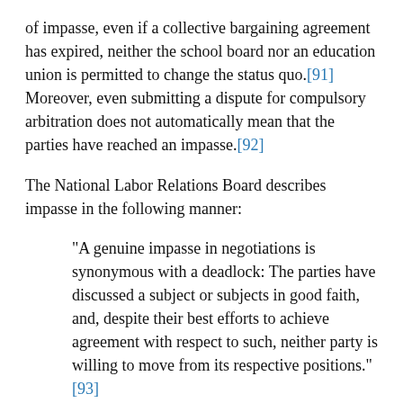of impasse, even if a collective bargaining agreement has expired, neither the school board nor an education union is permitted to change the status quo.[91] Moreover, even submitting a dispute for compulsory arbitration does not automatically mean that the parties have reached an impasse.[92]
The National Labor Relations Board describes impasse in the following manner:
"A genuine impasse in negotiations is synonymous with a deadlock: The parties have discussed a subject or subjects in good faith, and, despite their best efforts to achieve agreement with respect to such, neither party is willing to move from its respective positions."[93]
If contractual negotiations have reached an impasse, and if the prior bargaining agreement has already expired, the school board is free to implement its final contractual